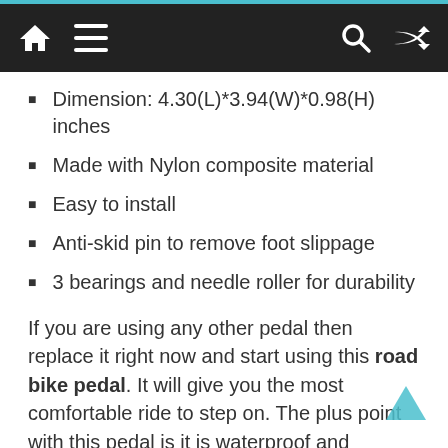Navigation header bar with home, menu, search, and shuffle icons
Dimension: 4.30(L)*3.94(W)*0.98(H) inches
Made with Nylon composite material
Easy to install
Anti-skid pin to remove foot slippage
3 bearings and needle roller for durability
If you are using any other pedal then replace it right now and start using this road bike pedal. It will give you the most comfortable ride to step on. The plus point with this pedal is it is waterproof and dustproof which will keep you safe from any slipping. Hence this will increase the durability of the pedal to let it stay with the bike for long. The size of the pedal is sufficient to give a proper fit to